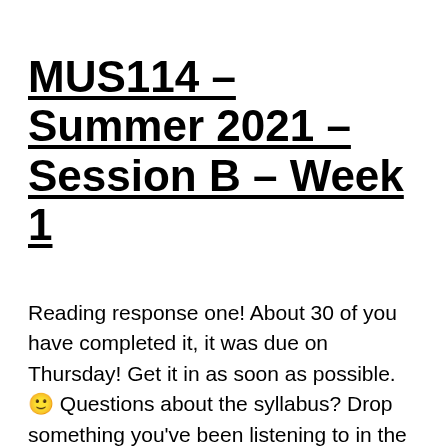MUS114 – Summer 2021 – Session B – Week 1
Reading response one! About 30 of you have completed it, it was due on Thursday! Get it in as soon as possible. 🙂 Questions about the syllabus? Drop something you've been listening to in the chat! Shuker Page 9. What does Shuker